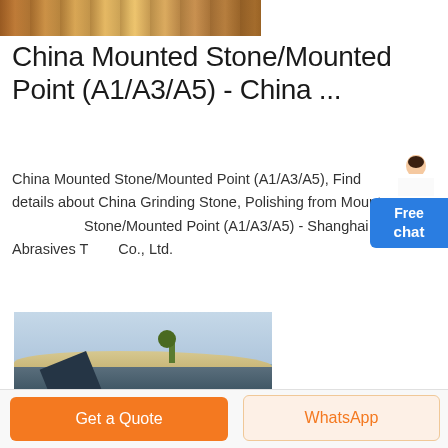[Figure (photo): Partial top image showing industrial/transport equipment in orange/yellow tones]
China Mounted Stone/Mounted Point (A1/A3/A5) - China ...
China Mounted Stone/Mounted Point (A1/A3/A5), Find details about China Grinding Stone, Polishing from Mounted Stone/Mounted Point (A1/A3/A5) - Shanghai Abrasives T Co., Ltd.
[Figure (photo): Industrial stone crushing or mining machinery with conveyor belts in a desert/arid landscape]
[Figure (other): Free chat widget with female avatar icon and blue button labeled Free chat]
Get a Quote
WhatsApp